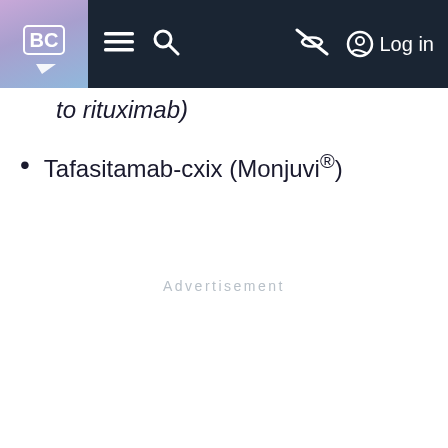BC navigation bar with logo, hamburger menu, search, eye-off icon, and Log in
to rituximab)
Tafasitamab-cxix (Monjuvi®)
Advertisement